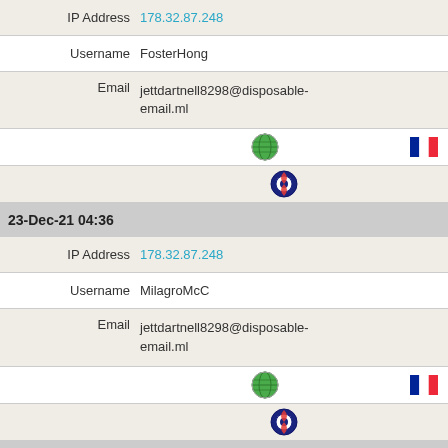| Field | Value |
| --- | --- |
| IP Address | 178.32.87.248 |
| Username | FosterHong |
| Email | jettdartnell8298@disposable-email.ml |
| [globe icon] | [French flag] |
| [tor icon] |  |
| 23-Dec-21 04:36 |  |
| IP Address | 178.32.87.248 |
| Username | MilagroMcC |
| Email | jettdartnell8298@disposable-email.ml |
| [globe icon] | [French flag] |
| [tor icon] |  |
| 22-Dec-21 21:15 |  |
| IP Address | 178.32.87.248 |
| Username | ShirleyAll |
| Email | jettdartnell8298@disposable- |